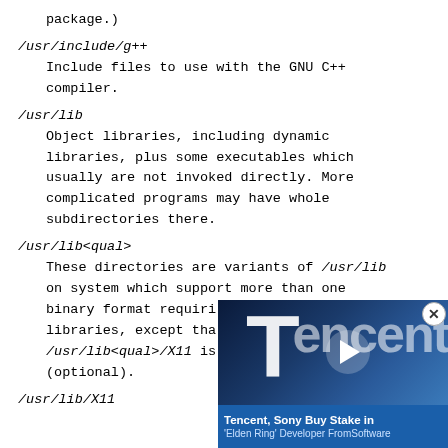package.)
/usr/include/g++
    Include files to use with the GNU C++ compiler.
/usr/lib
    Object libraries, including dynamic libraries, plus some executables which usually are not invoked directly. More complicated programs may have whole subdirectories there.
/usr/lib<qual>
    These directories are variants of /usr/lib on system which support more than one binary format requiring libraries, except that /usr/lib<qual>/X11 is (optional).
/usr/lib/X11
[Figure (screenshot): Advertisement overlay: Tencent video ad showing 'Tencent, Sony Buy Stake in Elden Ring Developer FromSoftware']